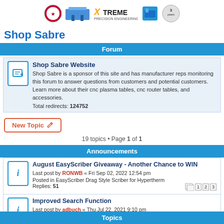[Figure (logo): Header banner with Shop Sabre logos and brand images including circular logo, CNC table, XTREME Precision Engineering logo, plasma cutter machine, and 3-year warranty badge]
Shop Sabre
Forum
Shop Sabre Website
Shop Sabre is a sponsor of this site and has manufacturer reps monitoring this forum to answer questions from customers and potential customers. Learn more about their cnc plasma tables, cnc router tables, and accessories.
Total redirects: 124752
New Topic
19 topics • Page 1 of 1
Announcements
August EasyScriber Giveaway - Another Chance to WIN
Last post by RONWB « Fri Sep 02, 2022 12:54 pm
Posted in EasyScriber Drag Style Scriber for Hypertherm
Replies: 51
Improved Search Function
Last post by adbuch « Thu Jul 22, 2021 9:10 pm
Posted in CNC Plasma Cutters General Forum
Replies: 6
Topics